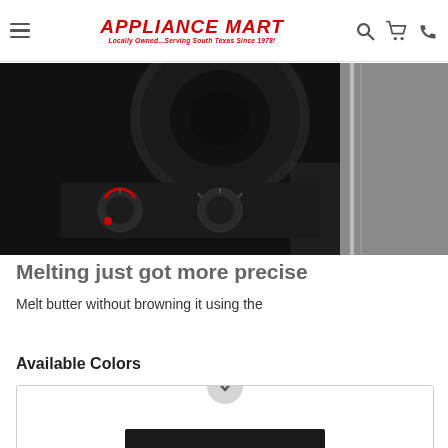Appliance Mart — Locally Owned...Serving South Texas Since 1978!
[Figure (photo): Close-up photo of a black electric or induction cooktop surface with circular burner and control knobs with red indicator lights]
Melting just got more precise
Melt butter without browning it using the
Available Colors
[Figure (other): Available colors selector box with a chevron/dropdown button and a dark horizontal bar showing a color option]